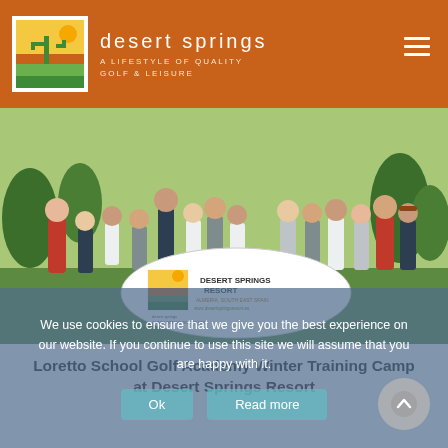desert springs — A LIFESTYLE OF QUALITY GOLF & LEISURE
[Figure (photo): Group photo of Loretto School Golf Academy students and coaches standing on a golf course green, holding a Desert Springs Resort banner/sign. The banner shows the Desert Springs logo and text 'DESERT SPRINGS RESORT, ALMERIA, SOUTH EAST SPAIN, www.desertspringsresort.es'.]
Loretto School Golf Academy Winter Training Camp at Desert Springs Resort
We use cookies to ensure that we give you the best experience on our website. If you continue to use this site we will assume that you are happy with it.